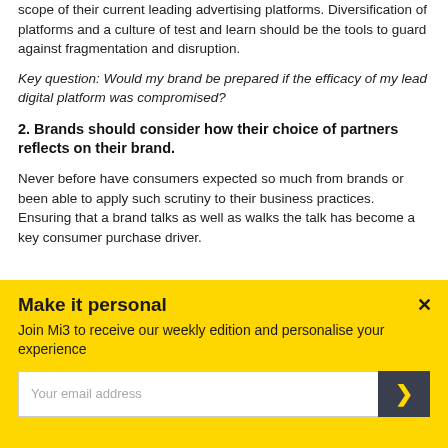scope of their current leading advertising platforms. Diversification of platforms and a culture of test and learn should be the tools to guard against fragmentation and disruption.
Key question: Would my brand be prepared if the efficacy of my lead digital platform was compromised?
2. Brands should consider how their choice of partners reflects on their brand.
Never before have consumers expected so much from brands or been able to apply such scrutiny to their business practices. Ensuring that a brand talks as well as walks the talk has become a key consumer purchase driver.
Make it personal
Join Mi3 to receive our weekly edition and personalise your experience
Your email address